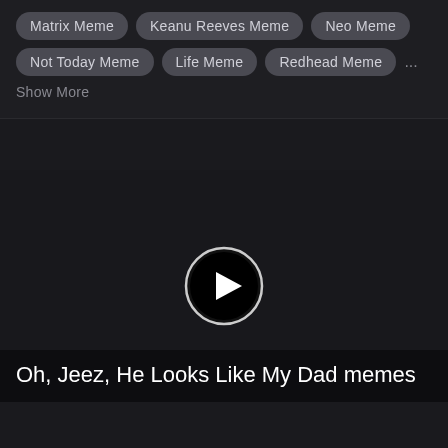Matrix Meme
Keanu Reeves Meme
Neo Meme
Not Today Meme
Life Meme
Redhead Meme
Show More
[Figure (other): Video player with play button icon in the center, dark background]
Oh, Jeez, He Looks Like My Dad memes